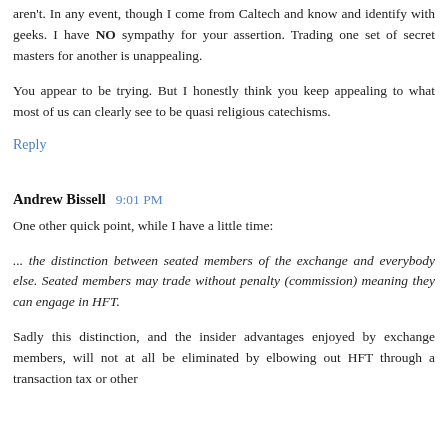aren't. In any event, though I come from Caltech and know and identify with geeks. I have NO sympathy for your assertion. Trading one set of secret masters for another is unappealing.
You appear to be trying. But I honestly think you keep appealing to what most of us can clearly see to be quasi religious catechisms.
Reply
Andrew Bissell  9:01 PM
One other quick point, while I have a little time:
... the distinction between seated members of the exchange and everybody else. Seated members may trade without penalty (commission) meaning they can engage in HFT.
Sadly this distinction, and the insider advantages enjoyed by exchange members, will not at all be eliminated by elbowing out HFT through a transaction tax or other